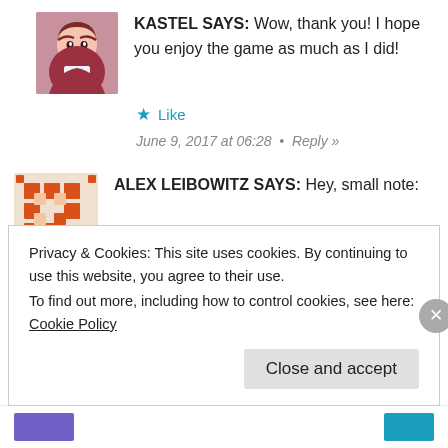KASTEL SAYS: Wow, thank you! I hope you enjoy the game as much as I did!
Like
June 9, 2017 at 06:28 • Reply »
ALEX LEIBOWITZ SAYS: Hey, small note:
▯▯▯▯▯▯▯▯▯▯ ......
Privacy & Cookies: This site uses cookies. By continuing to use this website, you agree to their use.
To find out more, including how to control cookies, see here: Cookie Policy
Close and accept